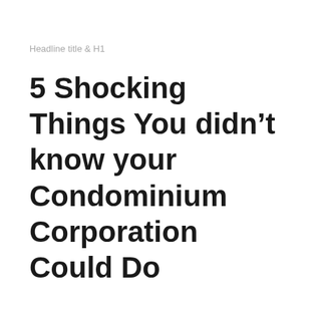Headline title & H1
5 Shocking Things You didn’t know your Condominium Corporation Could Do
Meta Description:
While condo boards differ across buildings, we have